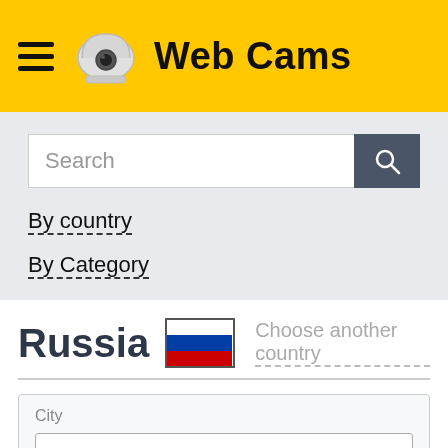Web Cams
Search
By country
By Category
Russia
Choose another country
City
Polyarnye Zori